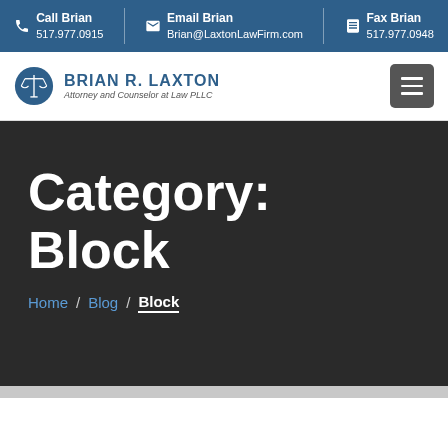Call Brian 517.977.0915 | Email Brian Brian@LaxtonLawFirm.com | Fax Brian 517.977.0948
[Figure (logo): Brian R. Laxton Attorney and Counselor at Law PLLC logo with scales of justice icon]
Category: Block
Home / Blog / Block